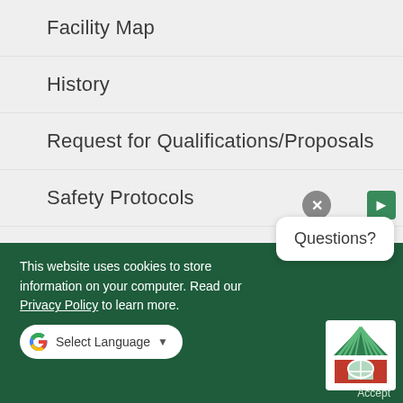Facility Map
History
Request for Qualifications/Proposals
Safety Protocols
Staff Directory
The Classic Center Arena
This website uses cookies to store information on your computer. Read our Privacy Policy to learn more.
Select Language
Questions?
Accept